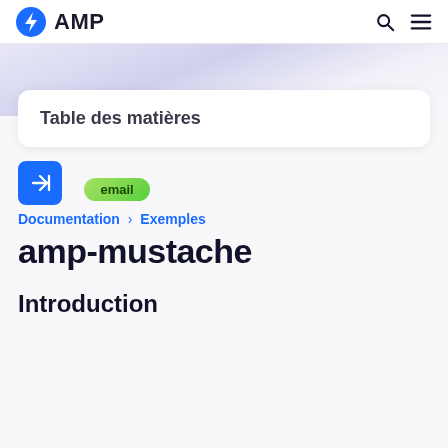AMP
Table des matières
[Figure (other): Blue collapse/expand button with right-arrow icon]
email
Documentation > Exemples
amp-mustache
Introduction